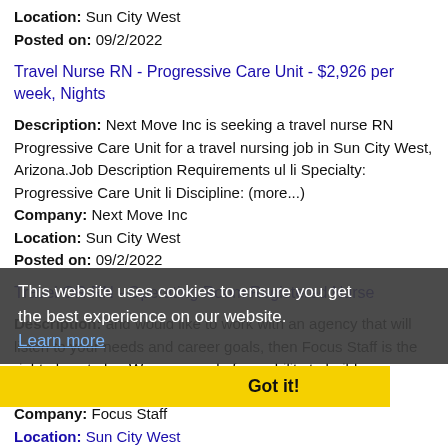Location: Sun City West
Posted on: 09/2/2022
Travel Nurse RN - Progressive Care Unit - $2,926 per week, Nights
Description: Next Move Inc is seeking a travel nurse RN Progressive Care Unit for a travel nursing job in Sun City West, Arizona.Job Description Requirements ul li Specialty: Progressive Care Unit li Discipline: (more...)
Company: Next Move Inc
Location: Sun City West
Posted on: 09/2/2022
Travel OR RN - Operating Room Registered Nurse
Description: and would like to work with an agency that will listen to your needs and career goals, then Focus Staff is the right place to be. We are proud of our ability to build relationships with all our healthcare (more...)
Company: Focus Staff
Location: Sun City West
Posted on: 09/2/2022
This website uses cookies to ensure you get the best experience on our website. Learn more Got it!
Travel Nurse RN - OR - Operating Room - $3,856 per week
Description: Magnet Medical is seeking a travel nurse RN OR -